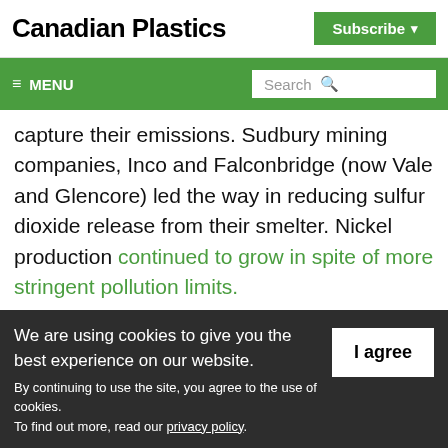Canadian Plastics | Subscribe
≡ MENU | Search
capture their emissions. Sudbury mining companies, Inco and Falconbridge (now Vale and Glencore) led the way in reducing sulfur dioxide release from their smelter. Nickel production continued to grow in spite of more stringent pollution limits.
We are using cookies to give you the best experience on our website.
By continuing to use the site, you agree to the use of cookies.
To find out more, read our privacy policy.